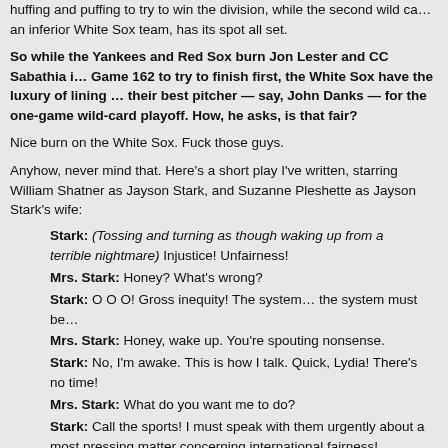huffing and puffing to try to win the division, while the second wild ca... an inferior White Sox team, has its spot all set.
So while the Yankees and Red Sox burn Jon Lester and CC Sabathia in Game 162 to try to finish first, the White Sox have the luxury of lining up their best pitcher — say, John Danks — for the one-game wild-card playoff. How, he asks, is that fair?
Nice burn on the White Sox. Fuck those guys.
Anyhow, never mind that. Here's a short play I've written, starring William Shatner as Jayson Stark, and Suzanne Pleshette as Jayson Stark's wife:
Stark: (Tossing and turning as though waking up from a terrible nightmare) Injustice! Unfairness!
Mrs. Stark: Honey? What's wrong?
Stark: O O O! Gross inequity! The system… the system must be…
Mrs. Stark: Honey, wake up. You're spouting nonsense.
Stark: No, I'm awake. This is how I talk. Quick, Lydia! There's no time!
Mrs. Stark: What do you want me to do?
Stark: Call the sports! I must speak with them urgently about a most pressing matter concerning international fairness!
Mrs. Stark: How about you go back to bed.
Stark: Another scotch first. I'll write down my manifesto while it's still fresh in my mind! No longer will the tyranny of the Al...